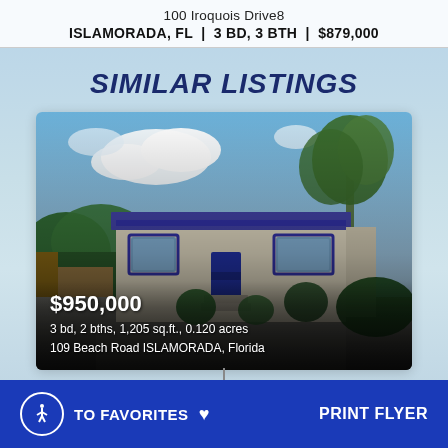100 Iroquois Drive8
ISLAMORADA, FL | 3 BD, 3 BTH | $879,000
SIMILAR LISTINGS
[Figure (photo): Exterior photo of a Florida Keys residential home with white walls, blue trim, palm trees, and lush landscaping. Property listed at $950,000, 3 bd, 2 bths, 1,205 sq.ft., 0.120 acres, 109 Beach Road ISLAMORADA, Florida]
ADD TO FAVORITES ♥    PRINT FLYER